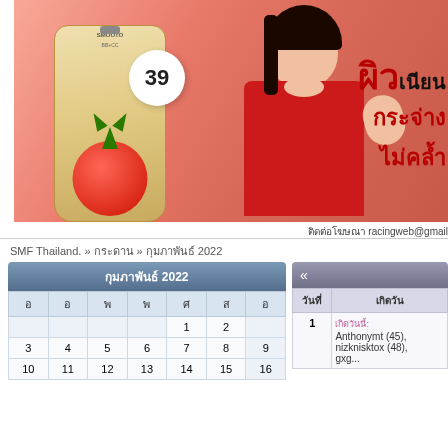[Figure (photo): Thai beauty product advertisement banner showing a woman in red dress with a tomato-based BB+CC cream product (SMOOTO brand), price 39, with Thai text: ผิวเนียน กระจ่าง ไม่คล้ำ]
ติดต่อโฆษณา racingweb@gmail
SMF Thailand. » กระดาน » กุมภาพันธ์ 2022
| กุมภาพันธ์ 2022 |
| --- |
| อ | อ | พ | พ | ศ | ส | อ |
|  |  |  |  | 1 | 2 |  |
| 3 | 4 | 5 | 6 | 7 | 8 | 9 |
| 10 | 11 | 12 | 13 | 14 | 15 | 16 |
| วันที่ | เกิดวัน |
| --- | --- |
| 1 | Anthonymt (45), nizknisktox (48), gxg... |